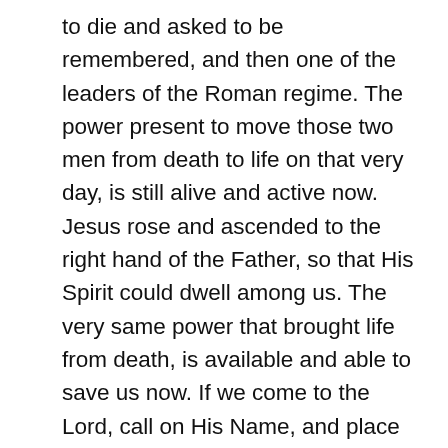to die and asked to be remembered, and then one of the leaders of the Roman regime. The power present to move those two men from death to life on that very day, is still alive and active now. Jesus rose and ascended to the right hand of the Father, so that His Spirit could dwell among us. The very same power that brought life from death, is available and able to save us now. If we come to the Lord, call on His Name, and place our trust in Him, His presence is ours, and we have the hope of life everlasting in Him. May we allow the power of the presence of the living God to transform us from the inside out.